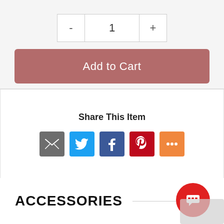- 1 +
Add to Cart
Share This Item
[Figure (infographic): Social share icons: email (grey), Twitter (blue), Facebook (dark blue), Pinterest (red), More (orange)]
ACCESSORIES